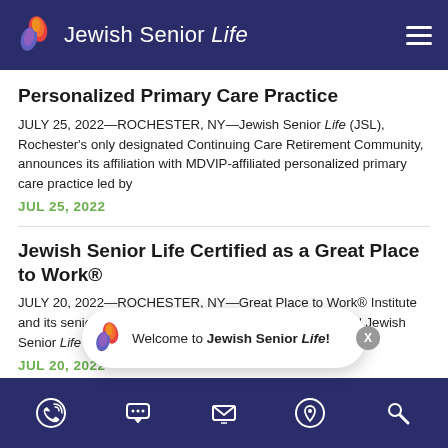Jewish Senior Life
Personalized Primary Care Practice
JULY 25, 2022—ROCHESTER, NY—Jewish Senior Life (JSL), Rochester's only designated Continuing Care Retirement Community, announces its affiliation with MDVIP-affiliated personalized primary care practice led by
JUL 25, 2022
Jewish Senior Life Certified as a Great Place to Work®
JULY 20, 2022—ROCHESTER, NY—Great Place to Work® Institute and its senior care partner Activated Insights have honored Jewish Senior Life (JSL), Rochester's only designated Continuing
JUL 20, 2022
Jewish Ho... of Rochester recognized fo...
[Figure (other): Welcome toast popup with Jewish Senior Life flame logo and close button]
Footer navigation bar with icons